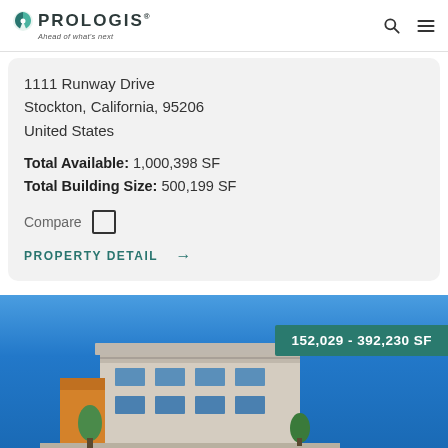PROLOGIS - Ahead of what's next
1111 Runway Drive
Stockton, California, 95206
United States
Total Available: 1,000,398 SF
Total Building Size: 500,199 SF
Compare
PROPERTY DETAIL →
[Figure (photo): Exterior photo of a large modern industrial/commercial building under blue sky with a teal banner showing '152,029 - 392,230 SF']
152,029 - 392,230 SF